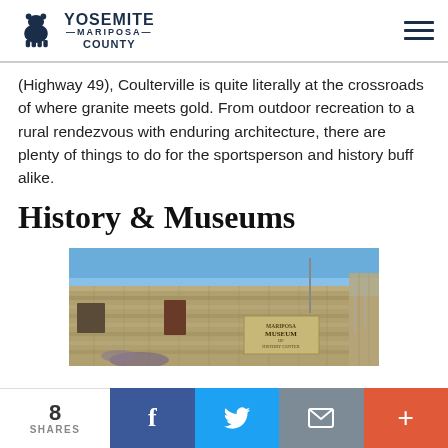Yosemite Mariposa County
(Highway 49), Coulterville is quite literally at the crossroads of where granite meets gold. From outdoor recreation to a rural rendezvous with enduring architecture, there are plenty of things to do for the sportsperson and history buff alike.
History & Museums
[Figure (photo): Exterior stone wall of the Mariposa Museum and History Center building under a blue sky, with a sign reading 'Museum of History Center']
8 SHARES | Facebook | Twitter | Email | More